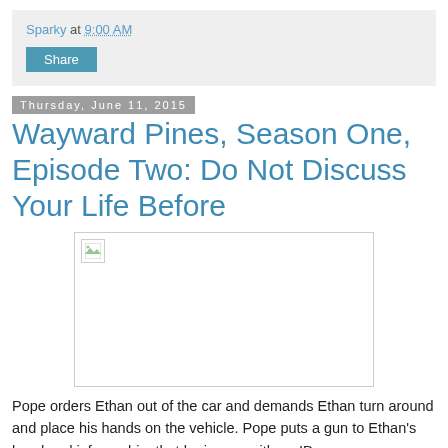Sparky at 9:00 AM
Share
Thursday, June 11, 2015
Wayward Pines, Season One, Episode Two: Do Not Discuss Your Life Before
[Figure (photo): Broken image placeholder with white background]
Pope orders Ethan out of the car and demands Ethan turn around and place his hands on the vehicle. Pope puts a gun to Ethan's head and informs him that he is now with an ID